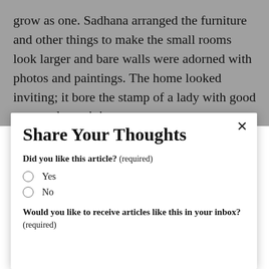grow as one. Sadhana arranged the furniture and other things to make the small rooms look larger and bare walls were adorned with photos and paintings. The home looked inviting; it bore the stamp of a lady with good taste and creativity.
Share Your Thoughts
Did you like this article? (required)
Yes
No
Would you like to receive articles like this in your inbox? (required)